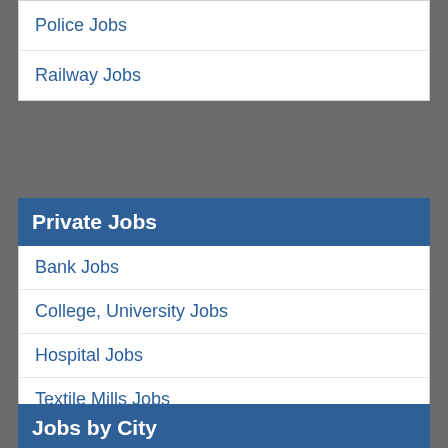Police Jobs
Railway Jobs
Private Jobs
Bank Jobs
College, University Jobs
Hospital Jobs
Textile Mills Jobs
School Jobs
Teaching Jobs
Medical Jobs
Office Jobs
Jobs by City